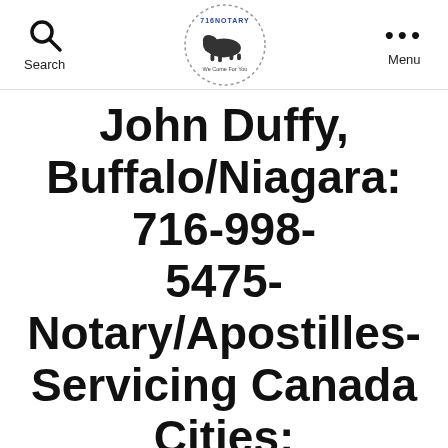Search | 716Notary logo | Menu
John Duffy, Buffalo/Niagara: 716-998-5475-Notary/Apostilles-Servicing Canada Cities: Toronto|Hamilton|Oakville|Niagara Falls|Fort Erie|St.